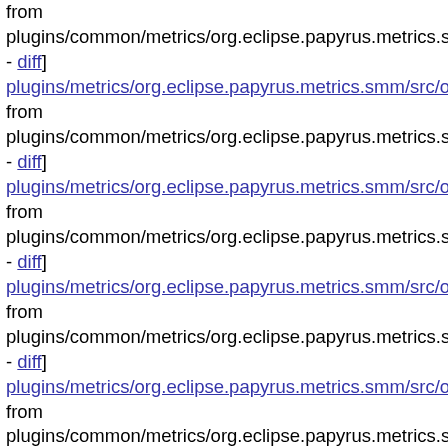from plugins/common/metrics/org.eclipse.papyrus.metrics.smm/src/org...
- diff]
plugins/metrics/org.eclipse.papyrus.metrics.smm/src/org/omg/smm...
from plugins/common/metrics/org.eclipse.papyrus.metrics.smm/src/org...
- diff]
plugins/metrics/org.eclipse.papyrus.metrics.smm/src/org/omg/smm...
from plugins/common/metrics/org.eclipse.papyrus.metrics.smm/src/org...
- diff]
plugins/metrics/org.eclipse.papyrus.metrics.smm/src/org/omg/smm...
from plugins/common/metrics/org.eclipse.papyrus.metrics.smm/src/org...
- diff]
plugins/metrics/org.eclipse.papyrus.metrics.smm/src/org/omg/smm...
from plugins/common/metrics/org.eclipse.papyrus.metrics.smm/src/org...
- diff]
plugins/metrics/org.eclipse.papyrus.metrics.smm/src/org/omg/smm...
from plugins/common/metrics/org.eclipse.papyrus.metrics.smm/src/org...